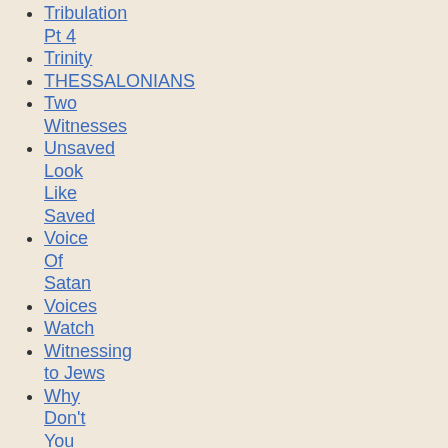Tribulation Pt 4
Trinity
THESSALONIANS
Two Witnesses
Unsaved Look Like Saved
Voice Of Satan
Voices
Watch
Witnessing to Jews
Why Don't You Understand?
Wilderness Sermon
World Baptist